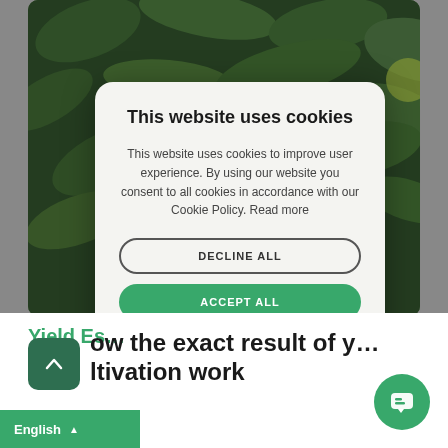[Figure (photo): Dark green foliage/leaves background photo with round fruit visible]
This website uses cookies
This website uses cookies to improve user experience. By using our website you consent to all cookies in accordance with our Cookie Policy. Read more
DECLINE ALL
ACCEPT ALL
SHOW DETAILS
Yield Es
ow the exact result of y
ltivation work
English